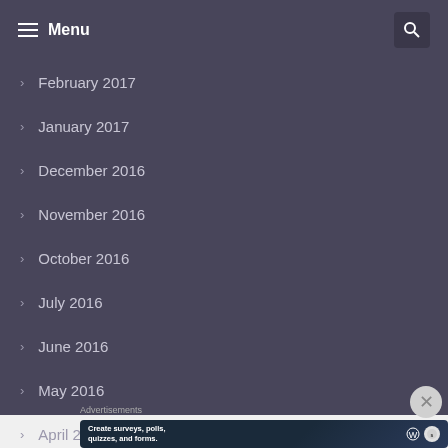Menu
February 2017
January 2017
December 2016
November 2016
October 2016
July 2016
June 2016
May 2016
April 2016
Advertisements
Create surveys, polls, quizzes, and forms.